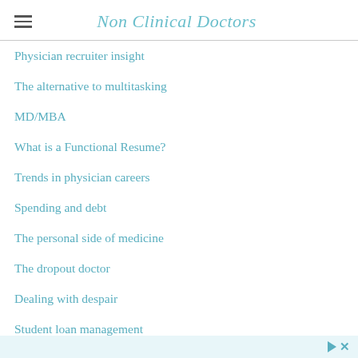Non Clinical Doctors
Physician recruiter insight
The alternative to multitasking
MD/MBA
What is a Functional Resume?
Trends in physician careers
Spending and debt
The personal side of medicine
The dropout doctor
Dealing with despair
Student loan management